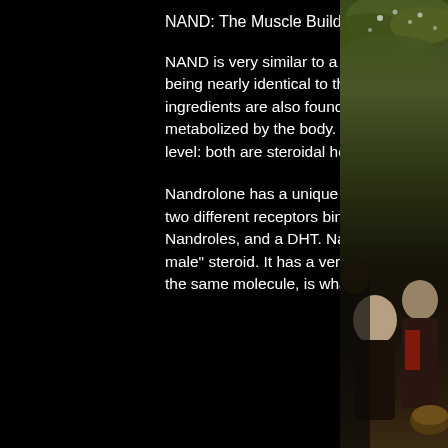NAND: The Muscle Building Part
NAND is very similar to a lot of the popular steroid compounds, even to the point of being nearly identical to those compounds, what is sarm sr9009. A lot of NAND's ingredients are also found within these popular steroids, and are very easily metabolized by the body. NAND is almost identical to Nandrolone at the cellular level: both are steroidal hormones.
Nandrolone has a unique "double-helix" structure due to the fact that it contains two different receptors binding to its main and secondary steroidal hormone; an Nandroles, and a DHT. Nandrolone will bind to the DHT, and thus is called "the male" steroid. It has a very similar molecular structure to AAS, in fact, in fact, it's the same molecule, is what sarm sr9009. As such, Nandrolone is ver...
[Figure (photo): A photo on the right side of the page showing people at what appears to be a social gathering or event, partially visible with plants/foliage in the upper portion.]